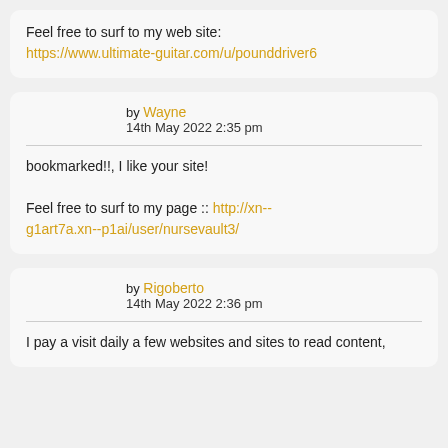Feel free to surf to my web site: https://www.ultimate-guitar.com/u/pounddriver6
by Wayne
14th May 2022 2:35 pm
bookmarked!!, I like your site!

Feel free to surf to my page :: http://xn--g1art7a.xn--p1ai/user/nursevault3/
by Rigoberto
14th May 2022 2:36 pm
I pay a visit daily a few websites and sites to read content,